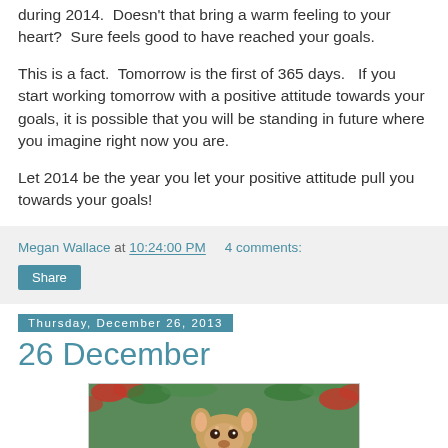during 2014.  Doesn't that bring a warm feeling to your heart?  Sure feels good to have reached your goals.
This is a fact.  Tomorrow is the first of 365 days.   If you start working tomorrow with a positive attitude towards your goals, it is possible that you will be standing in future where you imagine right now you are.
Let 2014 be the year you let your positive attitude pull you towards your goals!
Megan Wallace at 10:24:00 PM    4 comments:
Share
Thursday, December 26, 2013
26 December
[Figure (photo): Illustration or image related to 26 December blog post, partial view visible at bottom of page]